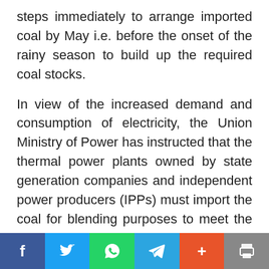steps immediately to arrange imported coal by May i.e. before the onset of the rainy season to build up the required coal stocks.
In view of the increased demand and consumption of electricity, the Union Ministry of Power has instructed that the thermal power plants owned by state generation companies and independent power producers (IPPs) must import the coal for blending purposes to meet the requirement at 10 per cent of the total requirement and ensure continuous power